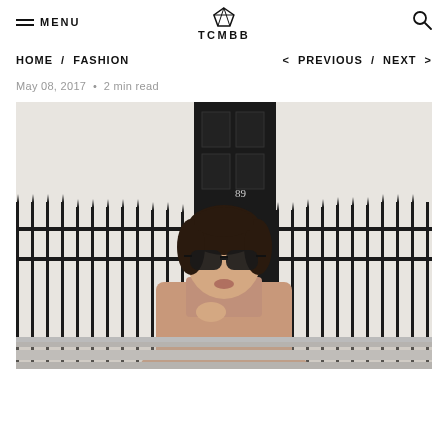MENU | TCMBB
HOME / FASHION   < PREVIOUS / NEXT >
May 08, 2017 • 2 min read
[Figure (photo): Woman wearing large dark sunglasses and a pink/nude turtleneck top, posing outside in front of a white building with black iron railings and a door marked 89.]